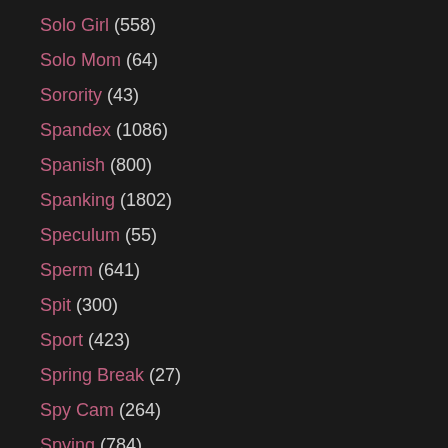Solo Girl (558)
Solo Mom (64)
Sorority (43)
Spandex (1086)
Spanish (800)
Spanking (1802)
Speculum (55)
Sperm (641)
Spit (300)
Sport (423)
Spring Break (27)
Spy Cam (264)
Spying (784)
Squirting (3548)
Squirting Compilation (45)
Starlet (13)